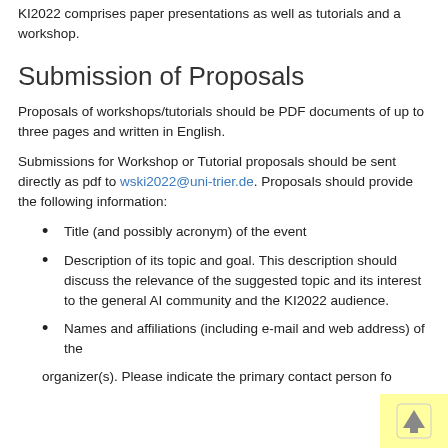KI2022 comprises paper presentations as well as tutorials and a workshop.
Submission of Proposals
Proposals of workshops/tutorials should be PDF documents of up to three pages and written in English.
Submissions for Workshop or Tutorial proposals should be sent directly as pdf to wski2022@uni-trier.de. Proposals should provide the following information:
Title (and possibly acronym) of the event
Description of its topic and goal. This description should discuss the relevance of the suggested topic and its interest to the general AI community and the KI2022 audience.
Names and affiliations (including e-mail and web address) of the
organizer(s). Please indicate the primary contact person fo